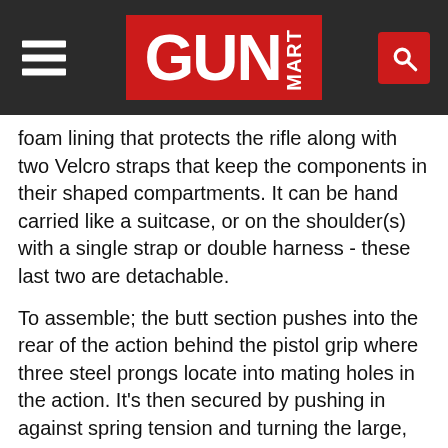GUN MART
foam lining that protects the rifle along with two Velcro straps that keep the components in their shaped compartments. It can be hand carried like a suitcase, or on the shoulder(s) with a single strap or double harness - these last two are detachable.
To assemble; the butt section pushes into the rear of the action behind the pistol grip where three steel prongs locate into mating holes in the action. It’s then secured by pushing in against spring tension and turning the large, aluminium, knurled-edge securing wheel just forward of the adjustable rubber butt pad. The oderator slides on the AA spigot on the muzzle and secures underneath with a finger screw. Fully assembled it easures 40.5” long and weighs 6.7lb un-scoped. That’s only 2” longer than the .22 calibre version and a measly 0.2lbs heavier. It’s then just a matter of fitting a scope and zeroing in, but first a closer look at the